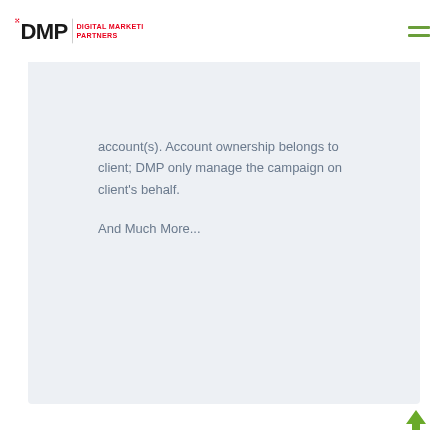DMP Digital Marketing Partners
account(s). Account ownership belongs to client; DMP only manage the campaign on client’s behalf.
And Much More...
[Figure (illustration): Green upward-pointing arrow (back to top button) in bottom-right corner]